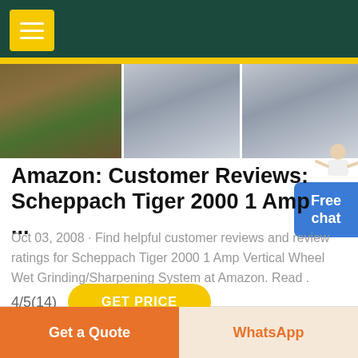[Figure (screenshot): Dark green header bar with yellow hamburger menu button]
[Figure (photo): Three industrial/machinery photos in a row: leftmost shows outdoor industrial site with debris, middle and right show grey industrial silos or grinding equipment]
Amazon: Customer Reviews: Scheppach Tiger 2000 1 Amp ...
Oct 03, 2008 · Find helpful customer reviews and review ratings for Scheppach Tiger 2000 1 Amp Vertical Wheel Wet Grinding/Sharpening System at Amazon. Read .
4/5(14)
[Figure (other): Yellow rounded GET PRICE button]
[Figure (other): Blue Free chat button on right side with person illustration above]
Get a Quote   WhatsApp